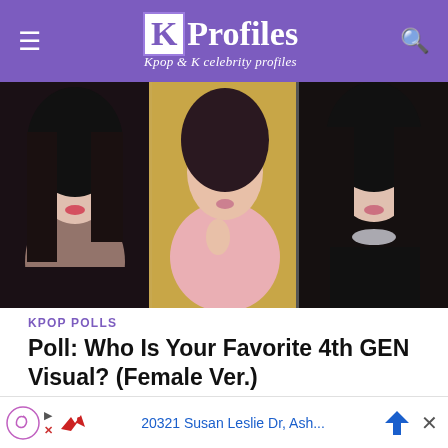KProfiles – Kpop & K celebrity profiles
[Figure (photo): Three female K-pop idols in a collage photo, one with dark hair in a black outfit on left, one in center with gold/yellow styling and pink feathery outfit, one on right with dark hair and silver accessories]
KPOP POLLS
Poll: Who Is Your Favorite 4th GEN Visual? (Female Ver.)
About the author
VIEW ALL POSTS
Min Ailin
20321 Susan Leslie Dr, Ash...